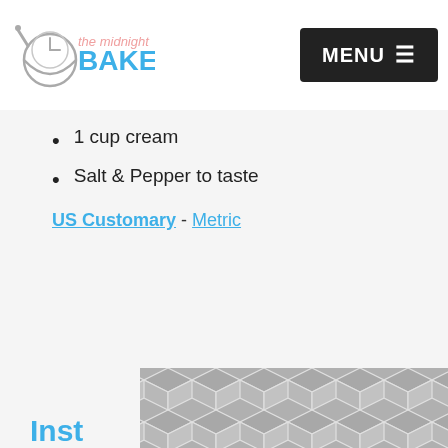the midnight BAKER | MENU
1 cup cream
Salt & Pepper to taste
US Customary - Metric
[Figure (illustration): Geometric hexagon tile pattern in grey, background image for Instru... section]
Inst...